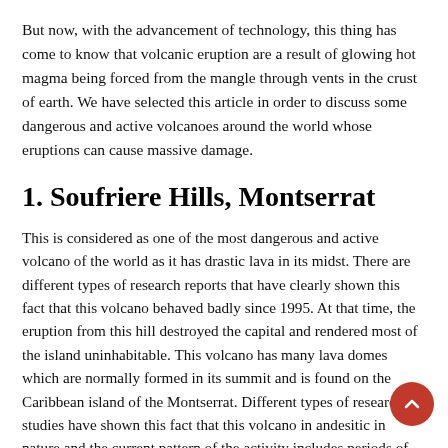But now, with the advancement of technology, this thing has come to know that volcanic eruption are a result of glowing hot magma being forced from the mangle through vents in the crust of earth. We have selected this article in order to discuss some dangerous and active volcanoes around the world whose eruptions can cause massive damage.
1. Soufriere Hills, Montserrat
This is considered as one of the most dangerous and active volcano of the world as it has drastic lava in its midst. There are different types of research reports that have clearly shown this fact that this volcano behaved badly since 1995. At that time, the eruption from this hill destroyed the capital and rendered most of the island uninhabitable. This volcano has many lava domes which are normally formed in its summit and is found on the Caribbean island of the Montserrat. Different types of research studies have shown this fact that this volcano in andesitic in nature and the current pattern of the activity includes periods of dome growth,